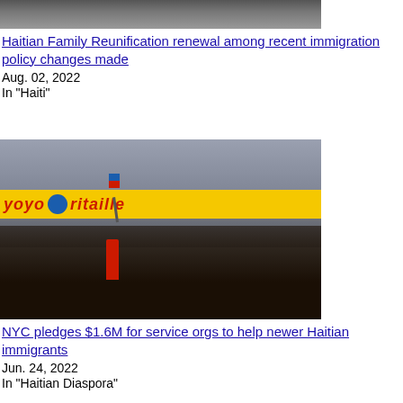[Figure (photo): Partial photograph cropped at top, showing people at what appears to be a gathering or protest]
Haitian Family Reunification renewal among recent immigration policy changes made
Aug. 02, 2022
In "Haiti"
[Figure (photo): Street scene photo showing a crowd of people in front of a store with a yellow 'yoyo' sign. A person in a red jacket is raising a Haitian flag above the crowd.]
NYC pledges $1.6M for service orgs to help newer Haitian immigrants
Jun. 24, 2022
In "Haitian Diaspora"